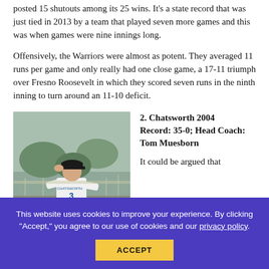posted 15 shutouts among its 25 wins. It’s a state record that was just tied in 2013 by a team that played seven more games and this was when games were nine innings long.
Offensively, the Warriors were almost as potent. They averaged 11 runs per game and only really had one close game, a 17-11 triumph over Fresno Roosevelt in which they scored seven runs in the ninth inning to turn around an 11-10 deficit.
[Figure (photo): Baseball player in Chatsworth uniform number 3, adjusting cap on field]
2. Chatsworth 2004
Record: 35-0; Head Coach: Tom Muesborn
It could be argued that
This website uses cookies to improve your experience. By clicking “Accept,” you agree to our use of cookies and our privacy policy.